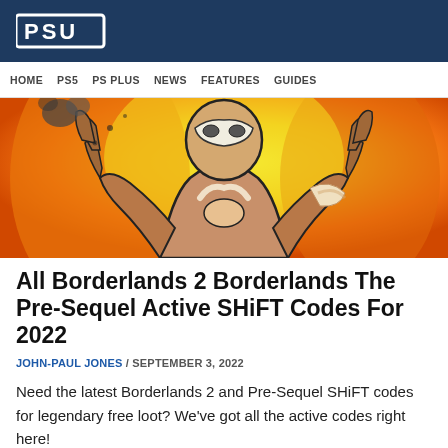PSU
HOME  PS5  PS PLUS  NEWS  FEATURES  GUIDES
[Figure (illustration): Colorful illustrated Borderlands-style character with cel-shaded art, orange and yellow background, character with mask and tribal markings crossing arms over chest]
All Borderlands 2 Borderlands The Pre-Sequel Active SHiFT Codes For 2022
JOHN-PAUL JONES / SEPTEMBER 3, 2022
Need the latest Borderlands 2 and Pre-Sequel SHiFT codes for legendary free loot? We've got all the active codes right here!